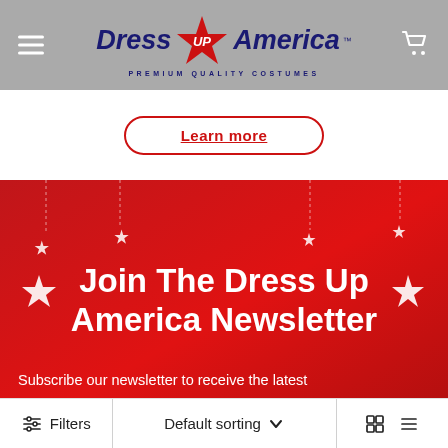Dress Up America — PREMIUM QUALITY COSTUMES
[Figure (screenshot): Dress Up America website header with logo, hamburger menu, and cart icon on grey background]
Learn more
[Figure (illustration): Red promotional banner with hanging stars decoration and text: Join The Dress Up America Newsletter. Subscribe our newsletter to receive the latest]
Join The Dress Up America Newsletter
Subscribe our newsletter to receive the latest
Filters   Default sorting   (grid/list icons)